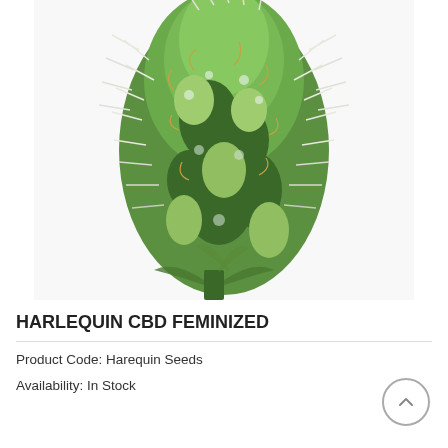[Figure (photo): Close-up photograph of a Harlequin CBD cannabis plant bud with white trichomes and green leaves against a white background]
HARLEQUIN CBD FEMINIZED
Product Code: Harequin Seeds
Availability: In Stock